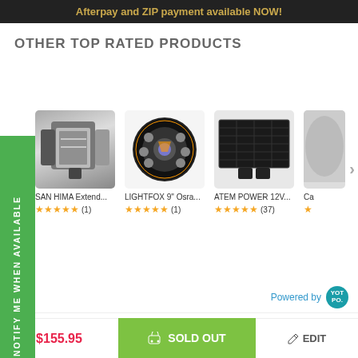Afterpay and ZIP payment available NOW!
OTHER TOP RATED PRODUCTS
NOTIFY ME WHEN AVAILABLE
[Figure (screenshot): Product card: SAN HIMA Extend... towing mirror, 5 stars, (1) review]
[Figure (screenshot): Product card: LIGHTFOX 9" Osra... driving light, 5 stars, (1) review]
[Figure (screenshot): Product card: ATEM POWER 12V... solar panel, 5 stars, (37) reviews]
[Figure (screenshot): Partially visible product card, Ca..., star rating visible]
Powered by
$155.95
SOLD OUT
EDIT